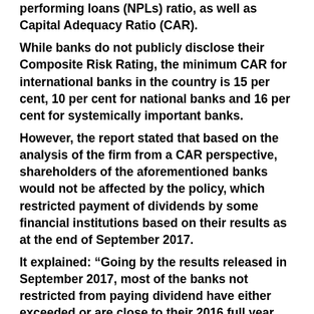performing loans (NPLs) ratio, as well as Capital Adequacy Ratio (CAR). While banks do not publicly disclose their Composite Risk Rating, the minimum CAR for international banks in the country is 15 per cent, 10 per cent for national banks and 16 per cent for systemically important banks. However, the report stated that based on the analysis of the firm from a CAR perspective, shareholders of the aforementioned banks would not be affected by the policy, which restricted payment of dividends by some financial institutions based on their results as at the end of September 2017. It explained: “Going by the results released in September 2017, most of the banks not restricted from paying dividend have either exceeded or are close to their 2016 full year profit level. “Fidelity Bank with a profit before tax of N16.2 billion in September 2017 has done 147 per cent of its 2016 full year profit; Sterling Bank with its N6.6 billion profit before tax, as at September